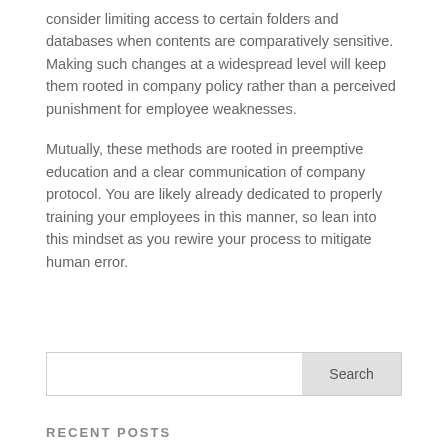consider limiting access to certain folders and databases when contents are comparatively sensitive. Making such changes at a widespread level will keep them rooted in company policy rather than a perceived punishment for employee weaknesses.
Mutually, these methods are rooted in preemptive education and a clear communication of company protocol. You are likely already dedicated to properly training your employees in this manner, so lean into this mindset as you rewire your process to mitigate human error.
Search
RECENT POSTS